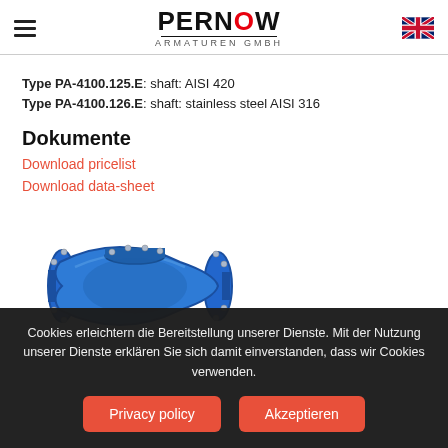PERNOW ARMATUREN GMBH
Type PA-4100.125.E: shaft: AISI 420
Type PA-4100.126.E: shaft: stainless steel AISI 316
Dokumente
Download pricelist
Download data-sheet
[Figure (photo): Blue flanged check valve / non-return valve, cast iron body with rubber-lined clapper disc, viewed from the side showing flanged ends and bolted cover.]
Cookies erleichtern die Bereitstellung unserer Dienste. Mit der Nutzung unserer Dienste erklären Sie sich damit einverstanden, dass wir Cookies verwenden.